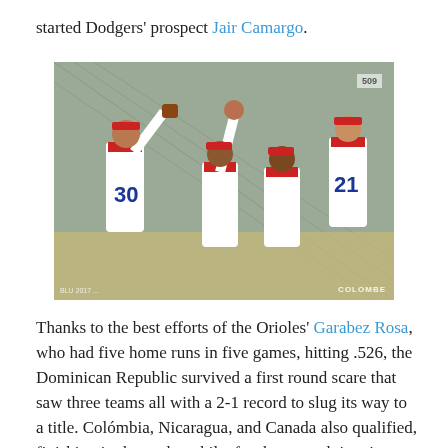started Dodgers' prospect Jair Camargo.
[Figure (photo): Baseball players in white and red uniforms celebrating on a field, wearing jerseys numbered 30 and 21, likely Dominican Republic national team]
Thanks to the best efforts of the Orioles' Garabez Rosa, who had five home runs in five games, hitting .526, the Dominican Republic survived a first round scare that saw three teams all with a 2-1 record to slug its way to a title. Colómbia, Nicaragua, and Canada also qualified, finishing in that order while, for the second time in two years,